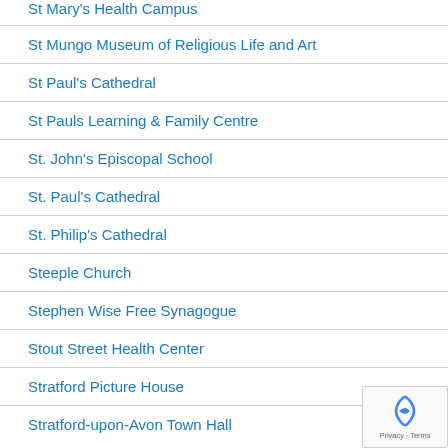St Mary's Health Campus
St Mungo Museum of Religious Life and Art
St Paul's Cathedral
St Pauls Learning & Family Centre
St. John's Episcopal School
St. Paul's Cathedral
St. Philip's Cathedral
Steeple Church
Stephen Wise Free Synagogue
Stout Street Health Center
Stratford Picture House
Stratford-upon-Avon Town Hall